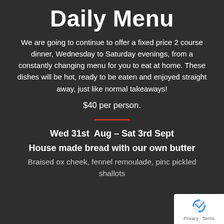Daily Menu
We are going to continue to offer a fixed price 2 course dinner, Wednesday to Saturday evenings, from a constantly changing menu for you to eat at home. These dishes will be hot, ready to be eaten and enjoyed straight away, just like normal takeaways!
$40 per person.
Wed 31st Aug – Sat 3rd Sept
House made bread with our own butter
Braised ox cheek, fennel remoulade, pinc pickled shallots